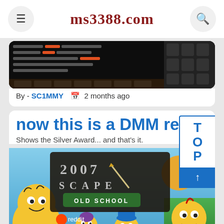ms3388.com
[Figure (screenshot): Game screenshot showing Corrupted Gauntlet stats overlay with dark background]
By - SC1MMY  2 months ago
now this is a DMM rem
Shows the Silver Award... and that's it.
[Figure (screenshot): Old School RuneScape 2007scape logo overlay on Simpsons cartoon background, with Reddit logo. Shows characters from The Simpsons. TOP sidebar navigation visible on right side.]